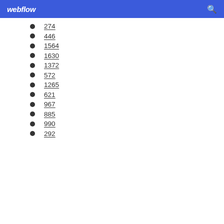webflow
274
446
1564
1630
1372
572
1265
621
967
885
990
292